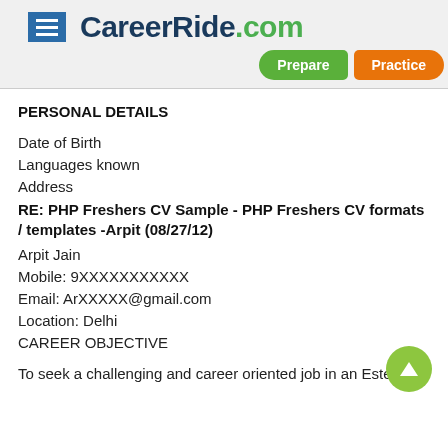CareerRide.com — Prepare | Practice
PERSONAL DETAILS
Date of Birth
Languages known
Address
RE: PHP Freshers CV Sample - PHP Freshers CV formats / templates -Arpit (08/27/12)
Arpit Jain
Mobile: 9XXXXXXXXXXX
Email: ArXXXXX@gmail.com
Location: Delhi
CAREER OBJECTIVE
To seek a challenging and career oriented job in an Esteemed